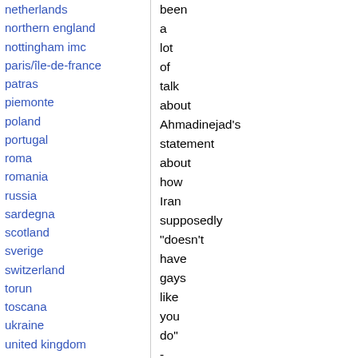netherlands
northern england
nottingham imc
paris/île-de-france
patras
piemonte
poland
portugal
roma
romania
russia
sardegna
scotland
sverige
switzerland
torun
toscana
ukraine
united kingdom
valencia
Latin America
argentina
bolivia
chiapas
chile
chile sur
been a lot of talk about Ahmadinejad's statement about how Iran supposedly "doesn't have gays like you do" - which of course totally distracts from the substance